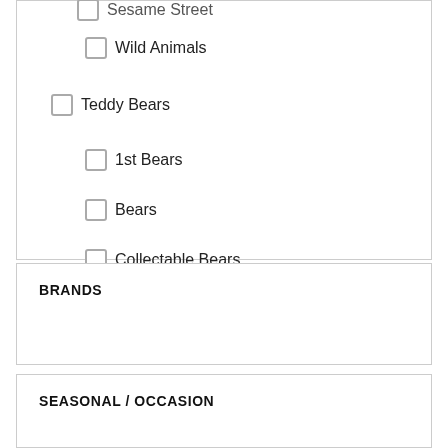Sesame Street
Wild Animals
Teddy Bears
1st Bears
Bears
Collectable Bears
Dressed Bears
BRANDS
SEASONAL / OCCASION